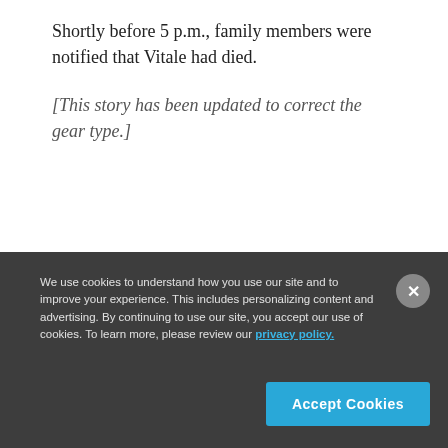Shortly before 5 p.m., family members were notified that Vitale had died.
[This story has been updated to correct the gear type.]
We use cookies to understand how you use our site and to improve your experience. This includes personalizing content and advertising. By continuing to use our site, you accept our use of cookies. To learn more, please review our privacy policy.
Accept Cookies